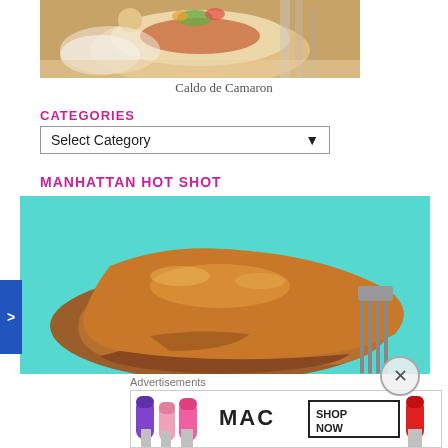[Figure (photo): Close-up photo of Caldo de Camaron dish — soup with shrimp on a white plate with silverware visible]
Caldo de Camaron
CATEGORIES
Select Category (dropdown)
MANHATTAN HOT SHOT
[Figure (photo): Close-up photo of a meat dish with thick brown gravy sauce served on a turquoise plate with a fork visible on the right]
>
[Figure (photo): MAC cosmetics advertisement showing lipsticks in purple, pink, and red with MAC logo and SHOP NOW button]